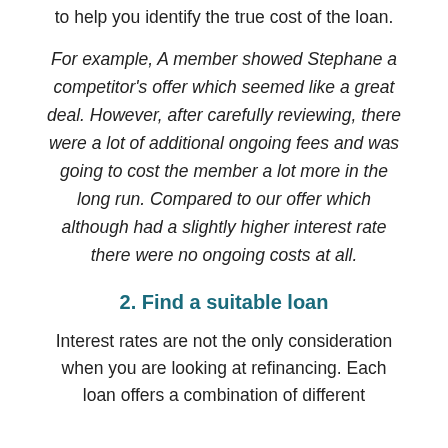to help you identify the true cost of the loan.
For example, A member showed Stephane a competitor’s offer which seemed like a great deal. However, after carefully reviewing, there were a lot of additional ongoing fees and was going to cost the member a lot more in the long run. Compared to our offer which although had a slightly higher interest rate there were no ongoing costs at all.
2. Find a suitable loan
Interest rates are not the only consideration when you are looking at refinancing. Each loan offers a combination of different